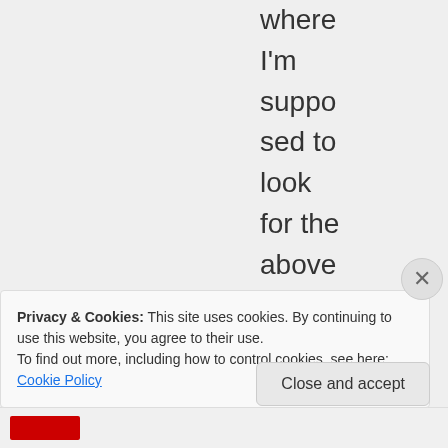where I'm suppo sed to look for the above althou gh I'm sure I've
Privacy & Cookies: This site uses cookies. By continuing to use this website, you agree to their use.
To find out more, including how to control cookies, see here: Cookie Policy
Close and accept